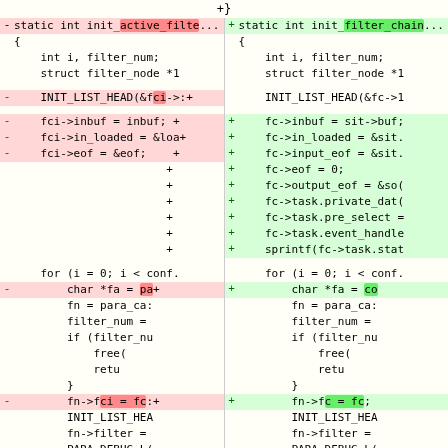[Figure (screenshot): A two-column code diff view showing changes between init_active_filter (left, removed) and init_filter_chain (right, added) C functions. Left column shows removed lines in red, right shows added lines in green. Various lines of C code including struct declarations, INIT_LIST_HEAD macro calls, field assignments (inbuf, in_loaded, eof), for loops, and list_add_tail calls. Some tokens are highlighted inline (active_filte in red header, filter_chain in green header, fci highlighted red on left, fc highlighted green on right).]